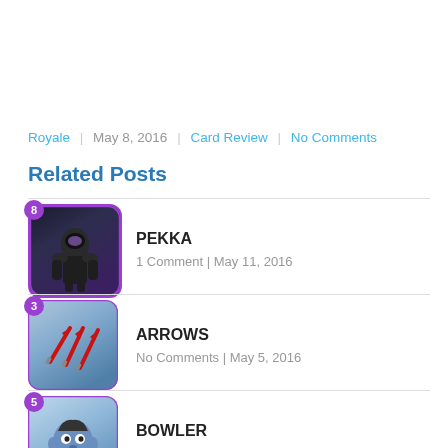Royale | May 8, 2016 | Card Review | No Comments
Related Posts
PEKKA — 1 Comment | May 11, 2016
ARROWS — No Comments | May 5, 2016
BOWLER — No Comments | Jul 9, 2016